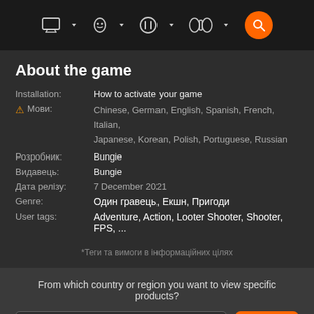Navigation bar with PC, PlayStation, Xbox, Nintendo icons and search button
About the game
| Label | Value |
| --- | --- |
| Installation: | How to activate your game |
| ⚠ Мови: | Chinese, German, English, Spanish, French, Italian, Japanese, Korean, Polish, Portuguese, Russian |
| Розробник: | Bungie |
| Видавець: | Bungie |
| Дата релізу: | 7 December 2021 |
| Genre: | Один гравець, Екшн, Пригоди |
| User tags: | Adventure, Action, Looter Shooter, Shooter, FPS, ... |
*Теги та вимоги в інформаційних цілях
From which country or region you want to view specific products?
United States
Submit